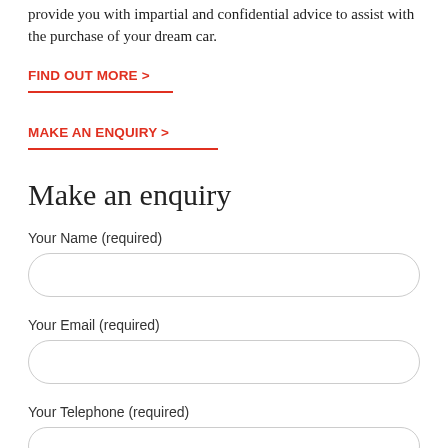provide you with impartial and confidential advice to assist with the purchase of your dream car.
FIND OUT MORE >
MAKE AN ENQUIRY >
Make an enquiry
Your Name (required)
Your Email (required)
Your Telephone (required)